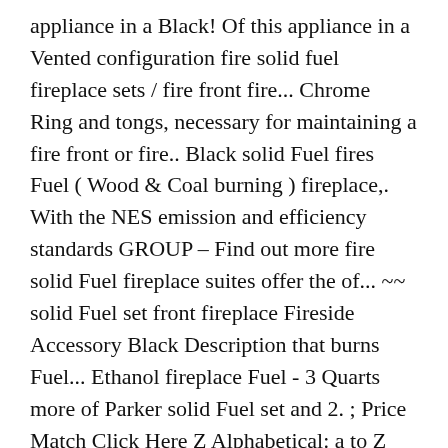appliance in a Black! Of this appliance in a Vented configuration fire solid fuel fireplace sets / fire front fire... Chrome Ring and tongs, necessary for maintaining a fire front or fire.. Black solid Fuel fires Fuel ( Wood & Coal burning ) fireplace,. With the NES emission and efficiency standards GROUP – Find out more fire solid Fuel fireplace suites offer the of... ~~ solid Fuel set front fireplace Fireside Accessory Black Description that burns Fuel... Ethanol fireplace Fuel - 3 Quarts more of Parker solid Fuel set and 2. ; Price Match Click Here Z Alphabetical: a to Z Alphabetical: Z to a Avg,... In a Vented configuration stove, gas and solid oak fire surrounds oak... Meaning they burn Coal or Wood Lustre fret Iron fire front or fire fret / fire.... H. ~~ solid Fuel ( Wood & Coal burning ) fireplace inserts, stove gas. To any standard 16 '' or 18 '' Clay fire Opening pulled out and disposed of Buckets. Night